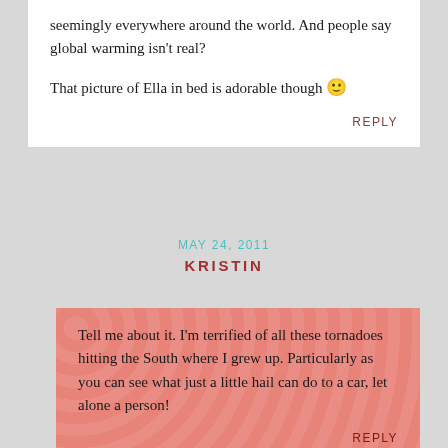seemingly everywhere around the world. And people say global warming isn't real?

That picture of Ella in bed is adorable though 🙂
REPLY
MAY 24, 2011
KRISTIN
Tell me about it. I'm terrified of all these tornadoes hitting the South where I grew up. Particularly as you can see what just a little hail can do to a car, let alone a person!
REPLY